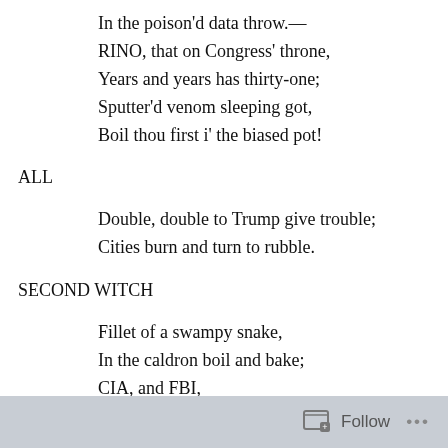In the poison'd data throw.—
RINO, that on Congress' throne,
Years and years has thirty-one;
Sputter'd venom sleeping got,
Boil thou first i' the biased pot!
ALL
Double, double to Trump give trouble;
Cities burn and turn to rubble.
SECOND WITCH
Fillet of a swampy snake,
In the caldron boil and bake;
CIA, and FBI,
Shred your honor, to FISA fly.
Follow ...